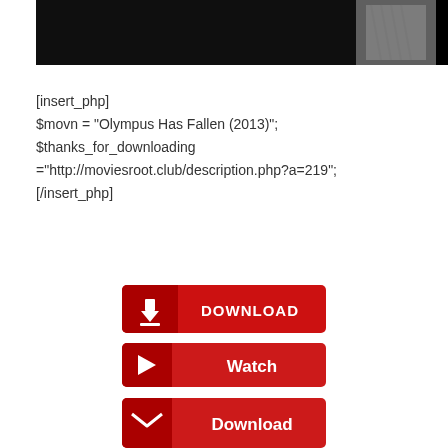[Figure (photo): Dark movie still showing a man in a striped shirt, cropped at top of page]
[insert_php]
$movn = "Olympus Has Fallen (2013)";
$thanks_for_downloading ="http://moviesroot.club/description.php?a=219";
[/insert_php]
[Figure (other): Red DOWNLOAD button with download arrow icon and white bold text DOWNLOAD]
[Figure (other): Red Watch button with white arrow chevron and white bold text Watch]
[Figure (other): Red Download button with white envelope/down arrow icon and white bold text Download]